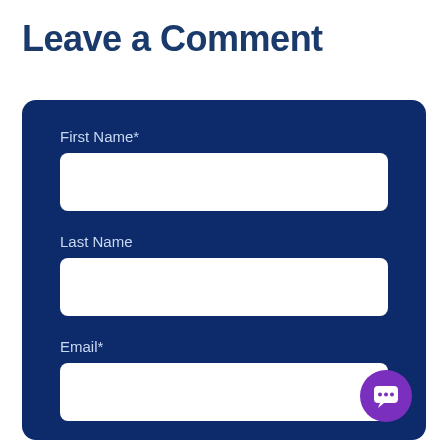Leave a Comment
First Name*
Last Name
Email*